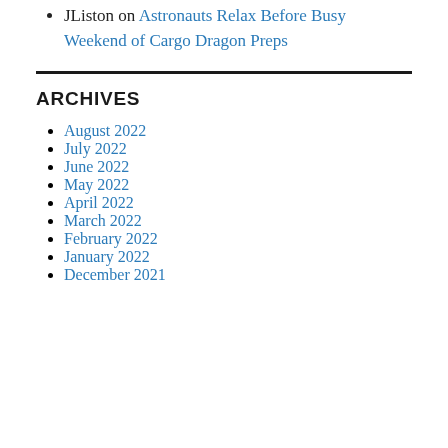JListon on Astronauts Relax Before Busy Weekend of Cargo Dragon Preps
ARCHIVES
August 2022
July 2022
June 2022
May 2022
April 2022
March 2022
February 2022
January 2022
December 2021